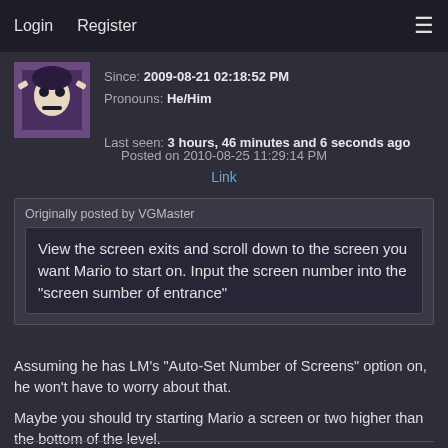Login   Register
Since: 2009-08-21 02:18:52 PM
Pronouns: He/Him
Last seen: 3 hours, 46 minutes and 6 seconds ago
Posted on 2010-08-25 11:29:14 PM
Link
Originally posted by VGMaster
View the screen exits and scroll down to the screen you want Mario to start on. Input the screen number into the "screen sumber of entrance"
Assuming he has LM's "Auto-Set Number of Screens" option on, he won't have to worry about that.
Maybe you should try starting Mario a screen or two higher than the bottom of the level.